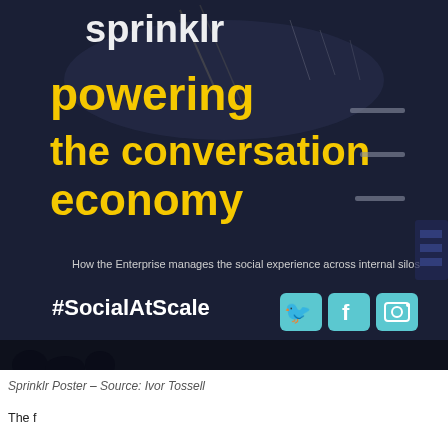[Figure (photo): Photo of a Sprinklr promotional poster/banner in dark navy blue background. The poster shows the Sprinklr logo at the top in white text, followed by yellow large text reading 'powering the conversation economy'. Below that in smaller white text: 'How the Enterprise manages the social experience across internal silos'. At the bottom: '#SocialAtScale' in white with Twitter, Facebook, and Instagram social media icons in light blue square buttons.]
Sprinklr Poster – Source: Ivor Tossell
The first sentence appears cut off at the bottom of the page.